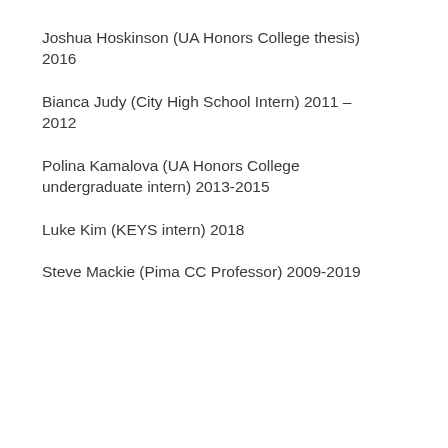Joshua Hoskinson (UA Honors College thesis) 2016
Bianca Judy (City High School Intern) 2011–2012
Polina Kamalova (UA Honors College undergraduate intern) 2013-2015
Luke Kim (KEYS intern) 2018
Steve Mackie (Pima CC Professor) 2009-2019